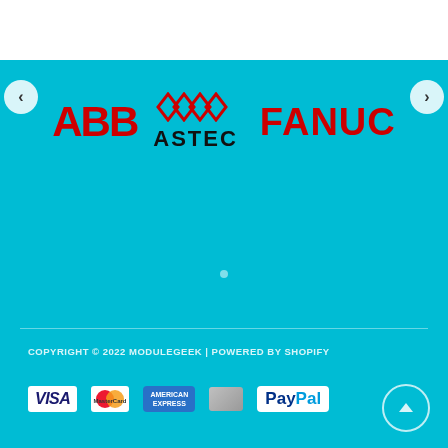[Figure (logo): White top bar area]
[Figure (logo): Brand logos carousel on cyan background showing ABB (red), ASTEC (red diamonds with black text), and FANUC (red, partially cropped) with left/right navigation arrows]
COPYRIGHT © 2022 MODULEGEEK | POWERED BY SHOPIFY
[Figure (logo): Payment method icons: VISA, Mastercard, American Express, generic card, PayPal]